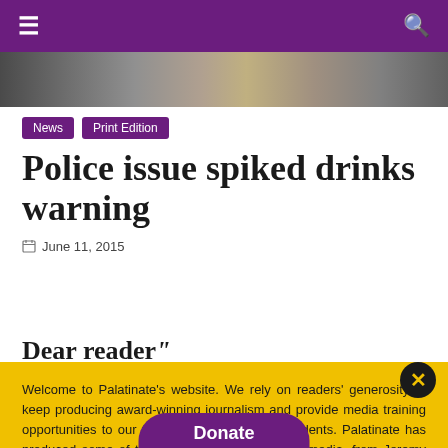≡  [hamburger menu]  [search icon]
[Figure (photo): Horizontal photo strip showing indoor/outdoor scene in grayscale]
News
Print Edition
Police issue spiked drinks warning
June 11, 2015
Dear reader
Welcome to Palatinate's website. We rely on readers' generosity to keep producing award-winning journalism and provide media training opportunities to our team of more than 150 students. Palatinate has produced some of the biggest names in British media, from Jeremy Vine to the late great Sir Harold Evans. Every contribution to Palatinate is an investment into the future of journalism.
Donate